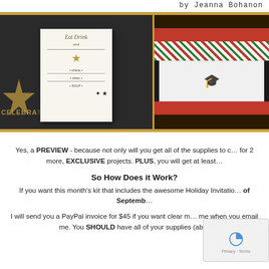by Jeanna Bohanon
[Figure (photo): Three craft/card project photos side by side with gold glitter border: left shows a holiday invitation card with 'Eat Drink and' text, star, and holly; center shows a Christmas card with red, green diagonal stripes and holly bow decoration; right partially visible with red and gold.]
Yes, a PREVIEW - because not only will you get all of the supplies to c... for 2 more, EXCLUSIVE projects. PLUS, you will get at least...
So How Does it Work?
If you want this month's kit that includes the awesome Holiday Invitatio... of Septemb...
I will send you a PayPal invoice for $45 if you want clear m... me when you email me. You SHOULD have all of your supplies (ab...